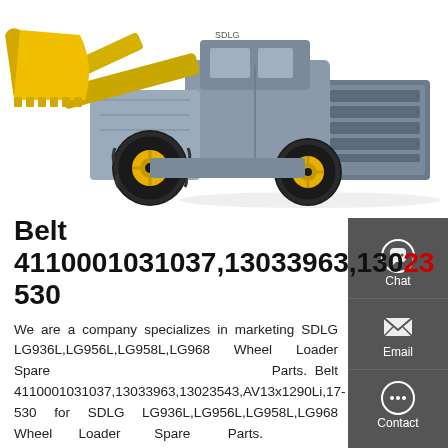[Figure (photo): Yellow SDLG wheel loader (front loader) on white background, showing the bucket, large black tires, and gray rear counterweight.]
Belt 4110001031037,13033963,13023543,530
We are a company specializes in marketing SDLG LG936L,LG956L,LG958L,LG968 Wheel Loader Spare Parts. Belt 4110001031037,13033963,13023543,AV13x1290Li,17-530 for SDLG LG936L,LG956L,LG958L,LG968 Wheel Loader Spare Parts.